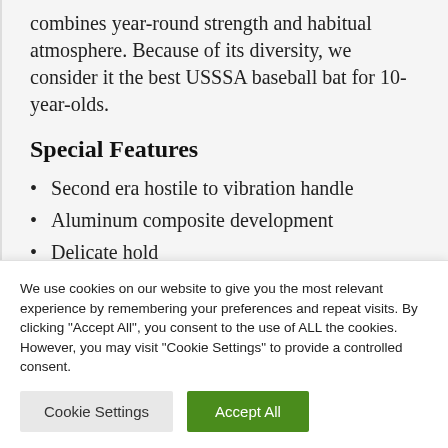combines year-round strength and habitual atmosphere. Because of its diversity, we consider it the best USSSA baseball bat for 10-year-olds.
Special Features
Second era hostile to vibration handle
Aluminum composite development
Delicate hold
We use cookies on our website to give you the most relevant experience by remembering your preferences and repeat visits. By clicking "Accept All", you consent to the use of ALL the cookies. However, you may visit "Cookie Settings" to provide a controlled consent.